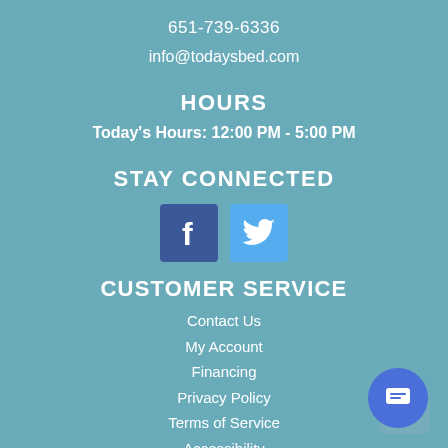651-739-6336
info@todaysbed.com
HOURS
Today's Hours: 12:00 PM - 5:00 PM
STAY CONNECTED
[Figure (infographic): Facebook and Twitter social media icon buttons]
CUSTOMER SERVICE
Contact Us
My Account
Financing
Privacy Policy
Terms of Service
Accessibility
Site Map